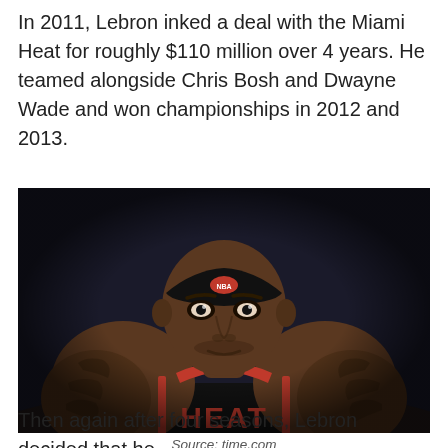In 2011, Lebron inked a deal with the Miami Heat for roughly $110 million over 4 years. He teamed alongside Chris Bosh and Dwayne Wade and won championships in 2012 and 2013.
[Figure (photo): LeBron James wearing a black Miami Heat jersey leaning forward intensely, with NBA headband, showing tattoos on both arms. Dark background.]
Source: time.com
Then again after four seasons, Lebron decided that he